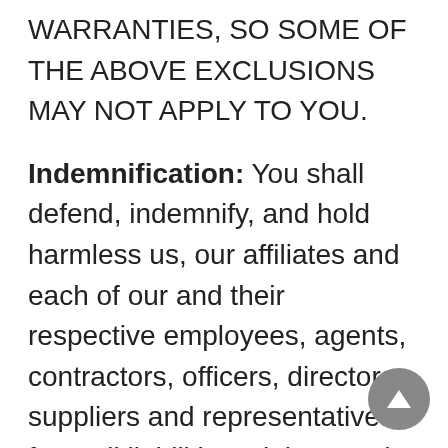WARRANTIES, SO SOME OF THE ABOVE EXCLUSIONS MAY NOT APPLY TO YOU.
Indemnification: You shall defend, indemnify, and hold harmless us, our affiliates and each of our and their respective employees, agents, contractors, officers, directors, suppliers and representatives from all liabilities, claims, and expenses, including reasonable attorneys' fees, that arise from or relate to your use or misuse of, or access to, the Services, Content, or otherwise from your User Content, violation of this User Agreement, or infringement by you, or any third party using your Account or identity in the Services, of any intellectual property or other right of any person or